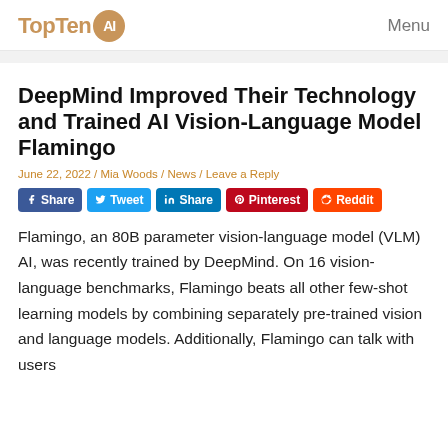TopTen AI   Menu
DeepMind Improved Their Technology and Trained AI Vision-Language Model Flamingo
June 22, 2022 / Mia Woods / News / Leave a Reply
[Figure (infographic): Social share buttons: Facebook Share, Tweet, LinkedIn Share, Pinterest, Reddit]
Flamingo, an 80B parameter vision-language model (VLM) AI, was recently trained by DeepMind. On 16 vision-language benchmarks, Flamingo beats all other few-shot learning models by combining separately pre-trained vision and language models. Additionally, Flamingo can talk with users